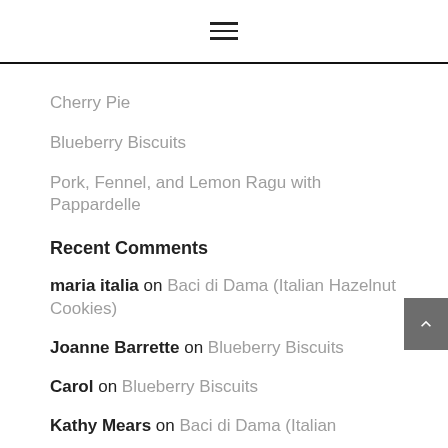≡
Cherry Pie
Blueberry Biscuits
Pork, Fennel, and Lemon Ragu with Pappardelle
Recent Comments
maria italia on Baci di Dama (Italian Hazelnut Cookies)
Joanne Barrette on Blueberry Biscuits
Carol on Blueberry Biscuits
Kathy Mears on Baci di Dama (Italian